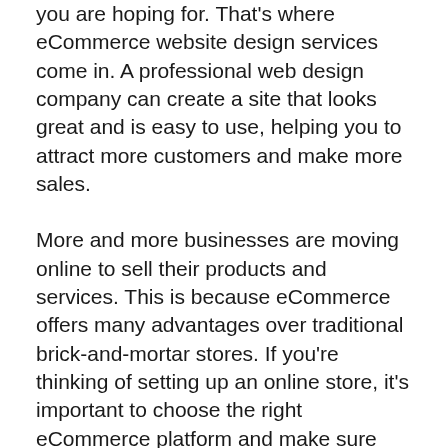you are hoping for. That's where eCommerce website design services come in. A professional web design company can create a site that looks great and is easy to use, helping you to attract more customers and make more sales.
More and more businesses are moving online to sell their products and services. This is because eCommerce offers many advantages over traditional brick-and-mortar stores. If you're thinking of setting up an online store, it's important to choose the right eCommerce platform and make sure your website is optimized for search engines. Once your store is up and running, you'll need to drive traffic to it through digital marketing.
An experienced eCommerce web design agency can help you with all aspects of setting up and